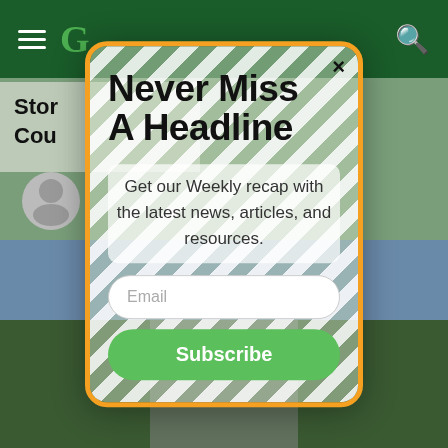G
Stor... f Coun...
[Figure (screenshot): Background screenshot of a news website with dark green nav bar, article title, avatar, and road landscape photo]
Never Miss A Headline
Get our Weekly recap with the latest news, articles, and resources.
Email
Subscribe